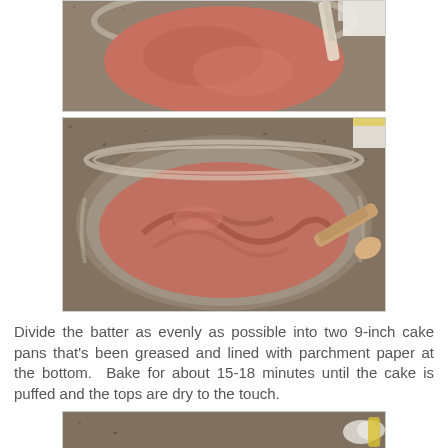[Figure (photo): Top partial photo showing chocolate cake batter in a glass bowl from above, with a spatula/spoon visible]
[Figure (photo): Middle photo showing chocolate cake batter in a large clear glass mixing bowl on a granite countertop, with a wooden spoon/spatula stirring]
Divide the batter as evenly as possible into two 9-inch cake pans that's been greased and lined with parchment paper at the bottom.  Bake for about 15-18 minutes until the cake is puffed and the tops are dry to the touch.
[Figure (photo): Bottom photo showing two round cake pans filled with chocolate batter on a wire rack on a granite countertop]